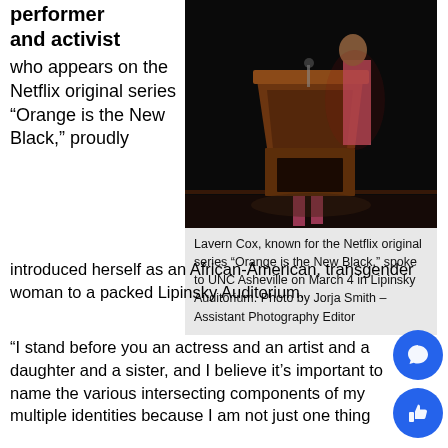performer and activist who appears on the Netflix original series “Orange is the New Black,” proudly introduced herself as an African-American, transgender woman to a packed Lipinsky Auditorium.
[Figure (photo): Person standing at a wooden podium on a dark stage, photographed from a distance, wearing a red outfit.]
Lavern Cox, known for the Netflix original series “Orange is the New Black,” spoke to UNC Asheville on March 4 in Lipinsky Auditorium. Photo by Jorja Smith – Assistant Photography Editor
“I stand before you an actress and an artist and a daughter and a sister, and I believe it’s important to name the various intersecting components of my multiple identities because I am not just one thing